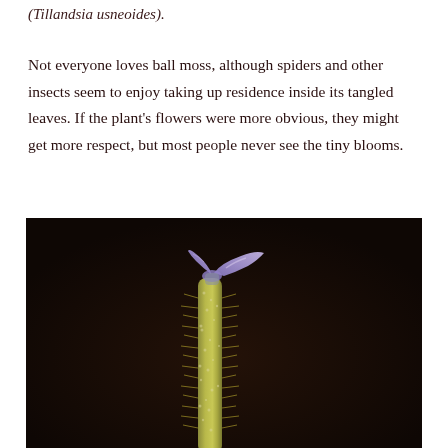(Tillandsia usneoides).
Not everyone loves ball moss, although spiders and other insects seem to enjoy taking up residence inside its tangled leaves. If the plant’s flowers were more obvious, they might get more respect, but most people never see the tiny blooms.
[Figure (photo): Close-up macro photograph of a tiny ball moss flower (Tillandsia usneoides) bloom on a hairy yellow-green stem against a very dark almost black background. The flower has small purple/lavender petals forming a Y-shape at the top of the stem.]